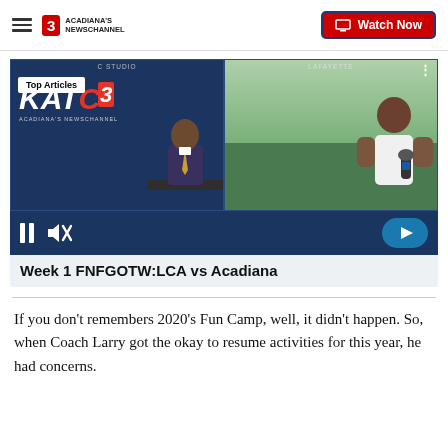Acadiana's Newschannel | Watch Now
[Figure (screenshot): Video player showing KATC 3 Acadiana's Newschannel studio on the left split-screen and a female reporter on a football field on the right. Overlay labels read 'C STUDIO' and 'LAFAYETTE'. Playback controls visible. Title reads 'Week 1 FNFGOTW:LCA vs Acadiana'. Top Articles badge visible.]
If you don't remembers 2020's Fun Camp, well, it didn't happen. So, when Coach Larry got the okay to resume activities for this year, he had concerns.